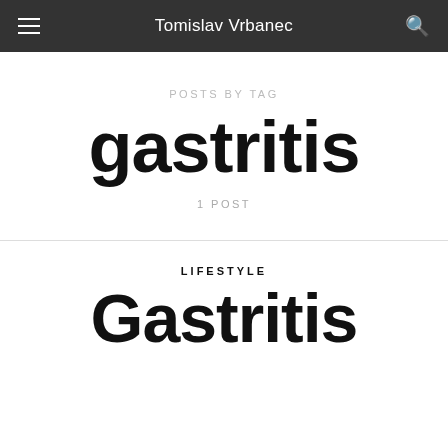Tomislav Vrbanec
POSTS BY TAG
gastritis
1 POST
LIFESTYLE
Gastritis